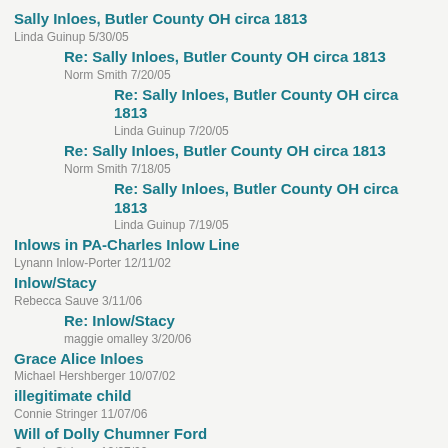Sally Inloes, Butler County OH circa 1813
Linda Guinup 5/30/05
Re: Sally Inloes, Butler County OH circa 1813
Norm Smith 7/20/05
Re: Sally Inloes, Butler County OH circa 1813
Linda Guinup 7/20/05
Re: Sally Inloes, Butler County OH circa 1813
Norm Smith 7/18/05
Re: Sally Inloes, Butler County OH circa 1813
Linda Guinup 7/19/05
Inlows in PA-Charles Inlow Line
Lynann Inlow-Porter 12/11/02
Inlow/Stacy
Rebecca Sauve 3/11/06
Re: Inlow/Stacy
maggie omalley 3/20/06
Grace Alice Inloes
Michael Hershberger 10/07/02
illegitimate child
Connie Stringer 11/07/06
Will of Dolly Chumner Ford
Connie Stringer 12/07/02
James Hunter & Jemima Enloes Connection